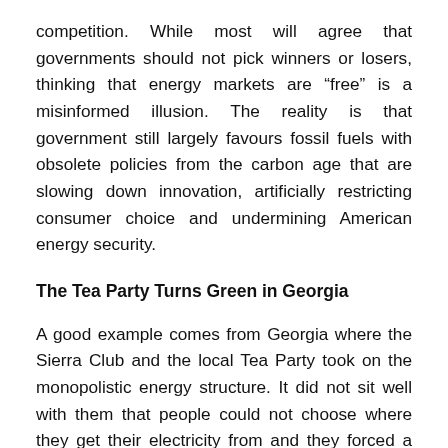competition. While most will agree that governments should not pick winners or losers, thinking that energy markets are “free” is a misinformed illusion. The reality is that government still largely favours fossil fuels with obsolete policies from the carbon age that are slowing down innovation, artificially restricting consumer choice and undermining American energy security.
The Tea Party Turns Green in Georgia
A good example comes from Georgia where the Sierra Club and the local Tea Party took on the monopolistic energy structure. It did not sit well with them that people could not choose where they get their electricity from and they forced a change in law to allow customers the ability to generate their own electricity and sell it back to the grid.